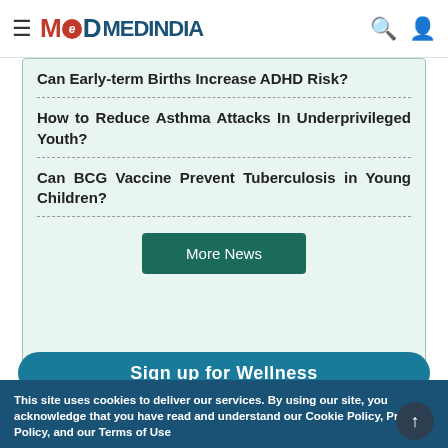MEDINDIA
Can Early-term Births Increase ADHD Risk?
How to Reduce Asthma Attacks In Underprivileged Youth?
Can BCG Vaccine Prevent Tuberculosis in Young Children?
More News
Sign up for Wellness
This site uses cookies to deliver our services. By using our site, you acknowledge that you have read and understand our Cookie Policy, Privacy Policy, and our Terms of Use
OK, I agree | No, give me more info | Close